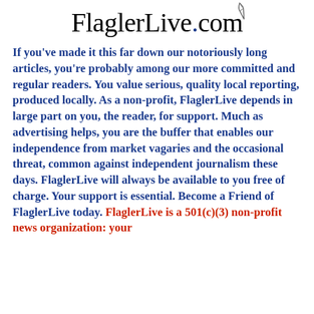[Figure (logo): FlaglerLive.com logo with a pen/quill icon above the dot in '.com', styled in serif font]
If you've made it this far down our notoriously long articles, you're probably among our more committed and regular readers. You value serious, quality local reporting, produced locally. As a non-profit, FlaglerLive depends in large part on you, the reader, for support. Much as advertising helps, you are the buffer that enables our independence from market vagaries and the occasional threat, common against independent journalism these days. FlaglerLive will always be available to you free of charge. Your support is essential. Become a Friend of FlaglerLive today. FlaglerLive is a 501(c)(3) non-profit news organization: your